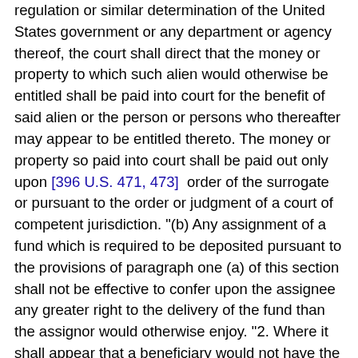regulation or similar determination of the United States government or any department or agency thereof, the court shall direct that the money or property to which such alien would otherwise be entitled shall be paid into court for the benefit of said alien or the person or persons who thereafter may appear to be entitled thereto. The money or property so paid into court shall be paid out only upon [396 U.S. 471, 473]  order of the surrogate or pursuant to the order or judgment of a court of competent jurisdiction. "(b) Any assignment of a fund which is required to be deposited pursuant to the provisions of paragraph one (a) of this section shall not be effective to confer upon the assignee any greater right to the delivery of the fund than the assignor would otherwise enjoy. "2. Where it shall appear that a beneficiary would not have the benefit or use or control of the money or other property due him or where other special circumstances make it desirable that such payment should be withheld the decree may direct that such money or property be paid into court for the benefit of the beneficiary